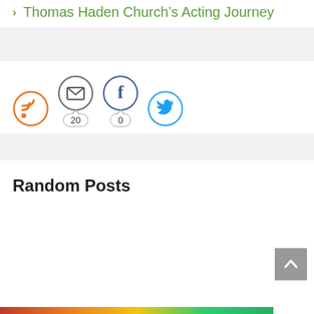Thomas Haden Church's Acting Journey
[Figure (infographic): Social share icons row: RSS (orange circle), Email (gray circle), Facebook (dark blue circle), Twitter (light blue circle). Below Email icon: badge showing '20'. Below Facebook icon: badge showing '0'.]
Random Posts
[Figure (infographic): Gray scroll-to-top button with up arrow chevron, positioned bottom right]
[Figure (infographic): Color gradient bar at page bottom: red to orange to yellow to green]